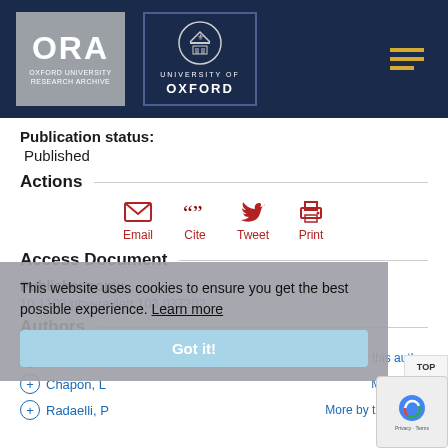[Figure (logo): ORA Oxford University Research Archive logo and University of Oxford crest logo in dark navy header bar with hamburger menu icon]
Publication status:
Published
Actions
[Figure (infographic): Four action icons: Email (envelope), Cite (quotation marks), Tweet (bird), Print (printer) in red/dark red color]
Access Document
Publisher copy:
10.1103/physrevlett.103.037202
Authors
Manuel, P — More by this author
Chapon, L — More by this author
Radaelli, P — More by this author
This website uses cookies to ensure you get the best possible experience. Learn more
Got it!